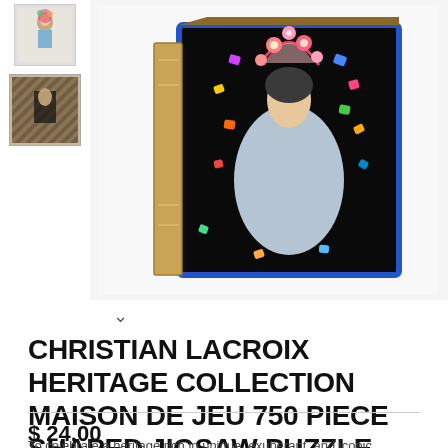[Figure (photo): Product page screenshot showing a jigsaw puzzle box with a colorful fashion illustration on a black background. Two thumbnails visible on the left side.]
CHRISTIAN LACROIX HERITAGE COLLECTION MAISON DE JEU 750 PIECE SHAPED JIGSAW PUZZLE
$ 24.00
To celebrate a heritage rich in unique, exuberant, and iconic